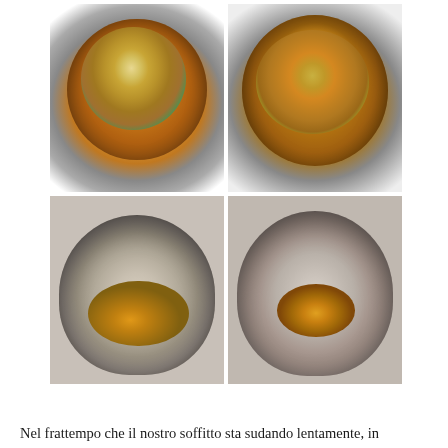[Figure (photo): A 2x2 grid of four sequential photos showing the cooking process of a soffritto (sautéed chopped vegetables) in a metal pot on a gas stove. Top-left: raw chopped carrots, celery, and onions in a pan. Top-right: vegetables beginning to cook, more golden and reduced. Bottom-left: vegetables further cooked and browning, with a wooden spoon visible. Bottom-right: deeply browned and caramelized vegetable mixture concentrated in the center of the pot.]
Nel frattempo che il nostro soffitto sta sudando lentamente, in